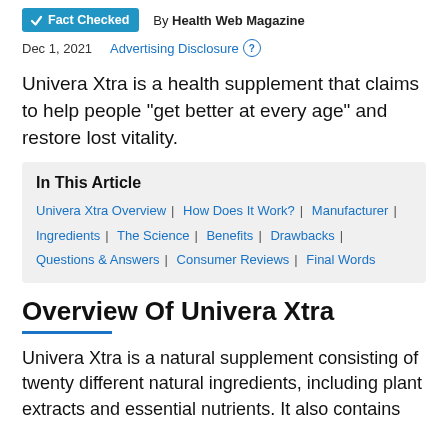Fact Checked | By Health Web Magazine
Dec 1, 2021   Advertising Disclosure
Univera Xtra is a health supplement that claims to help people "get better at every age" and restore lost vitality.
In This Article
Univera Xtra Overview | How Does It Work? | Manufacturer | Ingredients | The Science | Benefits | Drawbacks | Questions & Answers | Consumer Reviews | Final Words
Overview Of Univera Xtra
Univera Xtra is a natural supplement consisting of twenty different natural ingredients, including plant extracts and essential nutrients. It also contains